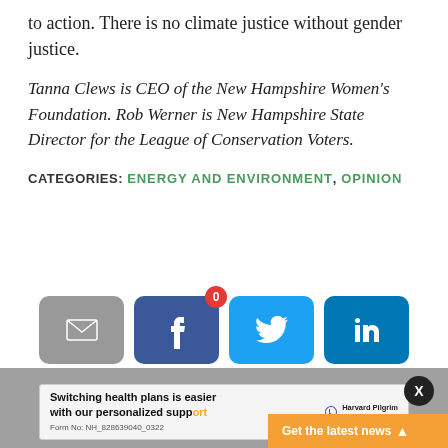to action. There is no climate justice without gender justice.
Tanna Clews is CEO of the New Hampshire Women’s Foundation. Rob Werner is New Hampshire State Director for the League of Conservation Voters.
CATEGORIES: ENERGY AND ENVIRONMENT, OPINION
[Figure (infographic): Social share buttons: email (grey), facebook (dark blue with badge showing 0), twitter (blue), linkedin (blue)]
MORE NEWS FROM NHBR:
[Figure (screenshot): Advertisement: 'Switching health plans is easier with our personalized support' with Harvard Pilgrim Health Care logo and form number NH_828639040_0322. Close button X. 'Get the latest news' orange button.]